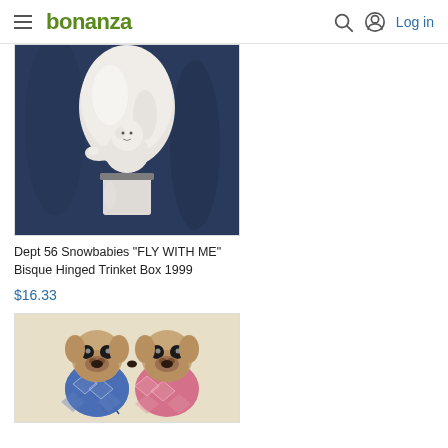bonanza | Log in
[Figure (photo): White bisque ceramic hot air balloon trinket box with a snowbaby figure, photographed against a dark blue fabric background]
Dept 56 Snowbabies "FLY WITH ME" Bisque Hinged Trinket Box 1999
$16.33
[Figure (photo): Two pug dog figurines wearing knit sweaters, one in a blue argyle pattern and one in a pink pattern, appearing to kiss]